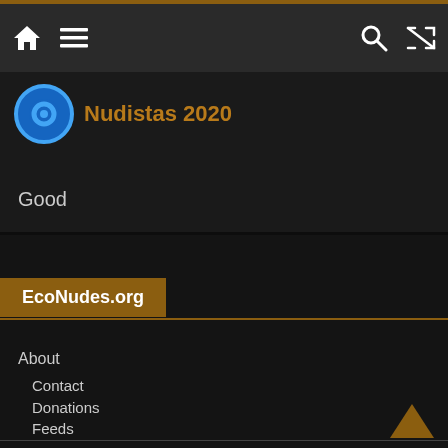Navigation bar with home, menu, search, and shuffle icons
Nudistas 2020
Good
EcoNudes.org
About
Contact
Donations
Feeds
Nominate a Website